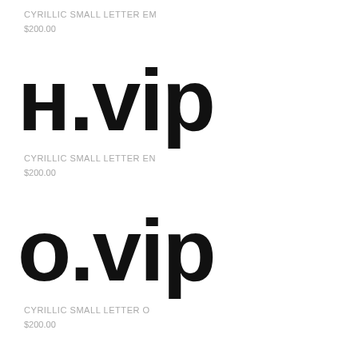CYRILLIC SMALL LETTER EM
$200.00
н.vip
CYRILLIC SMALL LETTER EN
$200.00
о.vip
CYRILLIC SMALL LETTER O
$200.00